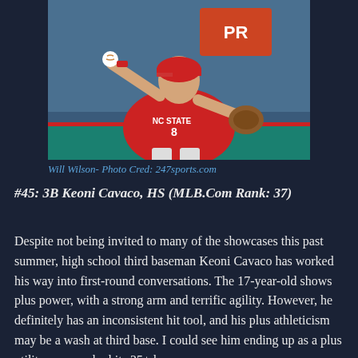[Figure (photo): Baseball player wearing NC State #8 red jersey, in fielding/throwing pose with a baseball glove and ball, on a baseball field]
Will Wilson- Photo Cred: 247sports.com
#45: 3B Keoni Cavaco, HS (MLB.Com Rank: 37)
Despite not being invited to many of the showcases this past summer, high school third baseman Keoni Cavaco has worked his way into first-round conversations. The 17-year-old shows plus power, with a strong arm and terrific agility. However, he definitely has an inconsistent hit tool, and his plus athleticism may be a wash at third base. I could see him ending up as a plus utility power who hits 25+ home runs per season,